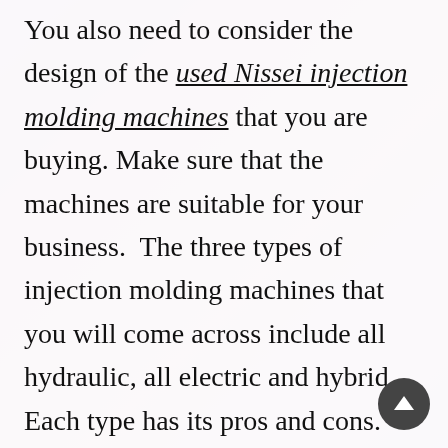You also need to consider the design of the used Nissei injection molding machines that you are buying. Make sure that the machines are suitable for your business.  The three types of injection molding machines that you will come across include all hydraulic, all electric and hybrid. Each type has its pros and cons.

If you are looking for an injection molding machine that does not consume a lot of power, the full hydraulic machine is perfect. It makes use of a servo